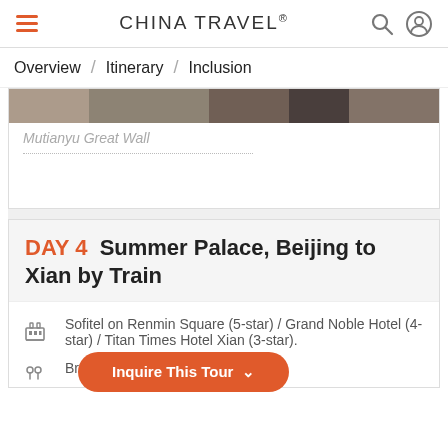CHINA TRAVEL®
Overview / Itinerary / Inclusion
Mutianyu Great Wall
DAY 4  Summer Palace, Beijing to Xian by Train
Sofitel on Renmin Square (5-star) / Grand Noble Hotel (4-star) / Titan Times Hotel Xian (3-star).
Break  Inquire This Tour ˅